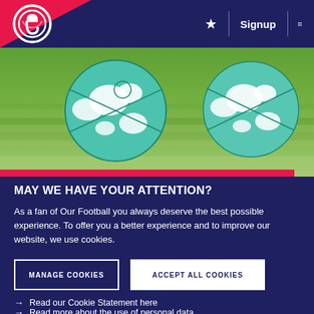Navigation bar with logo, star, Signup, and menu icon
[Figure (photo): Two soccer/footballs resting on green grass, close-up ground-level view]
MAY WE HAVE YOUR ATTENTION?
As a fan of Our Football you always deserve the best possible experience. To offer you a better experience and to improve our website, we use cookies.
MANAGE COOKIES
ACCEPT ALL COOKIES
Read our Cookie Statement here
Read more about the use of personal data